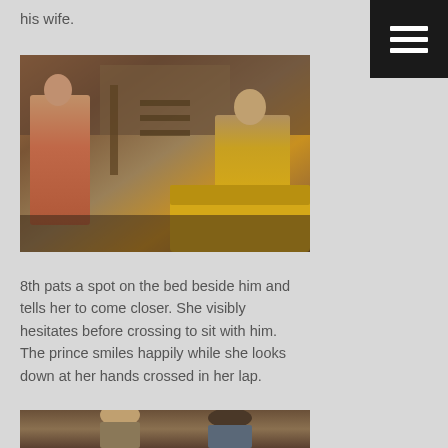his wife.
[Figure (photo): Screenshot from a historical Chinese drama showing a woman in traditional pink/red robes on the left and a man in yellow/gold robes sitting on a bed on the right, in a period interior setting]
8th pats a spot on the bed beside him and tells her to come closer. She visibly hesitates before crossing to sit with him. The prince smiles happily while she looks down at her hands crossed in her lap.
[Figure (photo): Screenshot from a historical Chinese drama showing two male characters, one bald and one wearing a black hat, in a period interior setting]